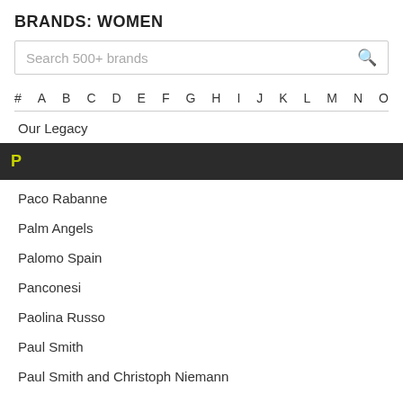BRANDS: WOMEN
Search 500+ brands
# A B C D E F G H I J K L M N O
Our Legacy
P
Paco Rabanne
Palm Angels
Palomo Spain
Panconesi
Paolina Russo
Paul Smith
Paul Smith and Christoph Niemann